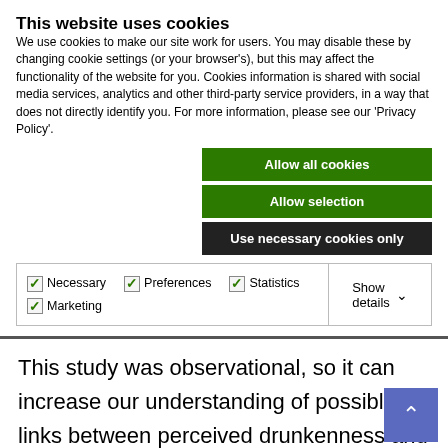This website uses cookies
We use cookies to make our site work for users. You may disable these by changing cookie settings (or your browser's), but this may affect the functionality of the website for you. Cookies information is shared with social media services, analytics and other third-party service providers, in a way that does not directly identify you. For more information, please see our 'Privacy Policy'.
Allow all cookies
Allow selection
Use necessary cookies only
Necessary  Preferences  Statistics  Marketing  Show details
This study was observational, so it can increase our understanding of possible links between perceived drunkenness and drinking environments, but it cannot show cause and effect because other factors may play a role. An